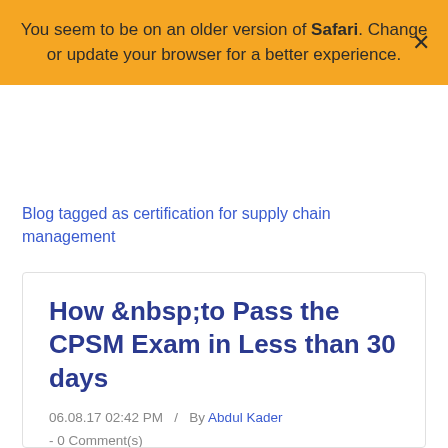You seem to be on an older version of Safari. Change or update your browser for a better experience.
Blog tagged as certification for supply chain management
How &nbsp;to Pass the CPSM Exam in Less than 30 days
06.08.17 02:42 PM  /  By Abdul Kader  - 0 Comment(s)
Preparing for a certification exam requires tremendous amount of dedication and long study hours, and with this, you probably do